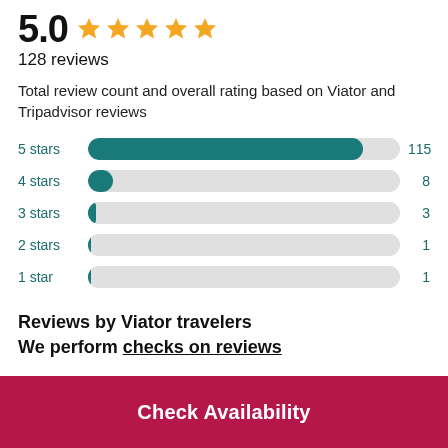[Figure (other): Rating score 5.0 with 5 gold stars]
128 reviews
Total review count and overall rating based on Viator and Tripadvisor reviews
[Figure (bar-chart): Star rating distribution]
Reviews by Viator travelers
We perform checks on reviews